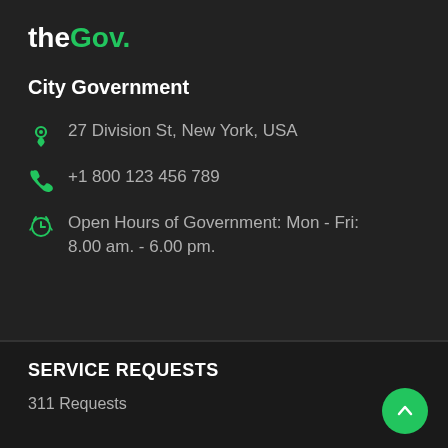theGov.
City Government
27 Division St, New York, USA
+1 800 123 456 789
Open Hours of Government: Mon - Fri: 8.00 am. - 6.00 pm.
SERVICE REQUESTS
311 Requests